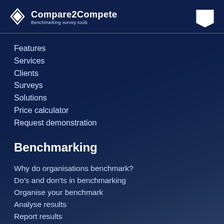Compare2Compete — Benchmarking survey tools
Features
Services
Clients
Surveys
Solutions
Price calculator
Request demonstration
Benchmarking
Why do organisations benchmark?
Do's and don'ts in benchmarking
Organise your benchmark
Analyse results
Report results
Benchmark solutions